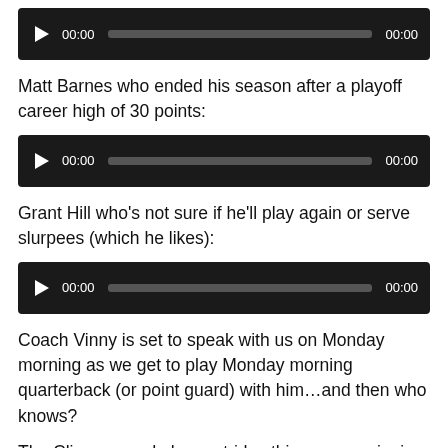[Figure (screenshot): Audio player widget with play button, progress bar, and timestamps 00:00]
Matt Barnes who ended his season after a playoff career high of 30 points:
[Figure (screenshot): Audio player widget with play button, progress bar, and timestamps 00:00]
Grant Hill who's not sure if he'll play again or serve slurpees (which he likes):
[Figure (screenshot): Audio player widget with play button, progress bar, and timestamps 00:00]
Coach Vinny is set to speak with us on Monday morning as we get to play Monday morning quarterback (or point guard) with him…and then who knows?
The Clippers made huge strides this season winning the Pacific Division for a first time, they set records with overall wins, home and road, and it was a fun ride while it